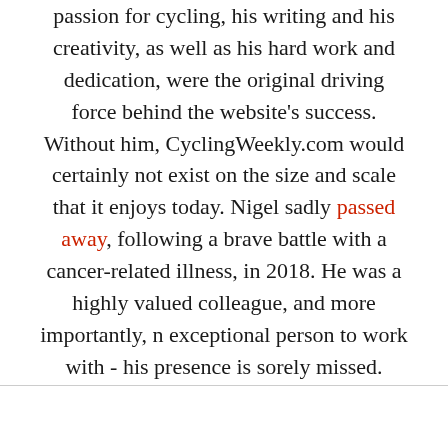passion for cycling, his writing and his creativity, as well as his hard work and dedication, were the original driving force behind the website's success. Without him, CyclingWeekly.com would certainly not exist on the size and scale that it enjoys today. Nigel sadly passed away, following a brave battle with a cancer-related illness, in 2018. He was a highly valued colleague, and more importantly, n exceptional person to work with - his presence is sorely missed.